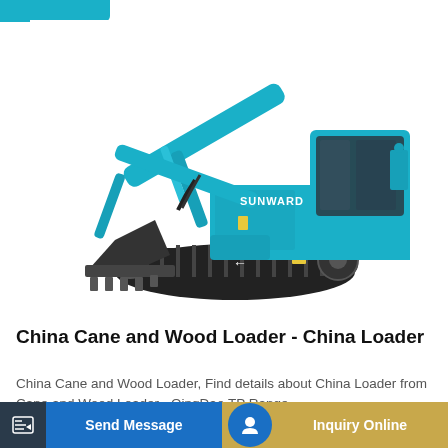[Figure (photo): Sunward brand mini excavator/cane and wood loader in teal/turquoise color with black tracks and bucket attachment, shown on white background]
China Cane and Wood Loader - China Loader
China Cane and Wood Loader, Find details about China Loader from Cane and Wood Loader - QingDao TP Range
Send Message  |  Inquiry Online  |  Learn More